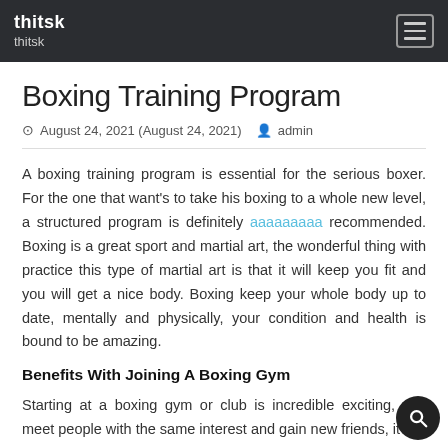thitsk thitsk
Boxing Training Program
August 24, 2021 (August 24, 2021) admin
A boxing training program is essential for the serious boxer. For the one that want's to take his boxing to a whole new level, a structured program is definitely recommended. Boxing is a great sport and martial art, the wonderful thing with practice this type of martial art is that it will keep you fit and you will get a nice body. Boxing keep your whole body up to date, mentally and physically, your condition and health is bound to be amazing.
Benefits With Joining A Boxing Gym
Starting at a boxing gym or club is incredible exciting, you meet people with the same interest and gain new friends, it